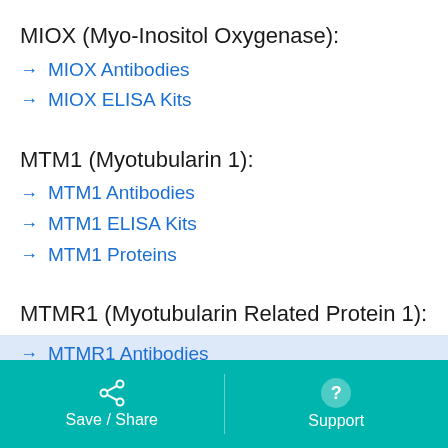MIOX (Myo-Inositol Oxygenase):
→ MIOX Antibodies
→ MIOX ELISA Kits
MTM1 (Myotubularin 1):
→ MTM1 Antibodies
→ MTM1 ELISA Kits
→ MTM1 Proteins
MTMR1 (Myotubularin Related Protein 1):
→ MTMR1 Antibodies
Save / Share   Support